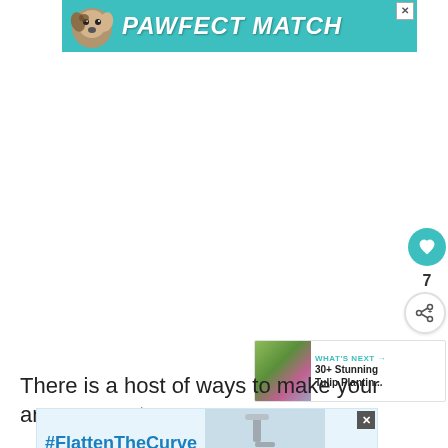[Figure (screenshot): Advertisement banner with teal background showing a dog image and 'PAWFECT MATCH' text in white bold italic letters, with an X close button in top right]
[Figure (screenshot): UI element: teal circular heart/like button with white heart icon, like count of 7, and a white circular share button with share icon]
[Figure (screenshot): What's Next panel showing a garden thumbnail photo and text '30+ Stunning Tulip Plantin...' with teal WHAT'S NEXT arrow label]
There is a host of ways to make your arrangement
[Figure (screenshot): Bottom advertisement banner with light blue background showing '#FlattenTheCurve' hashtag text, handwashing image, and a logo in teal]